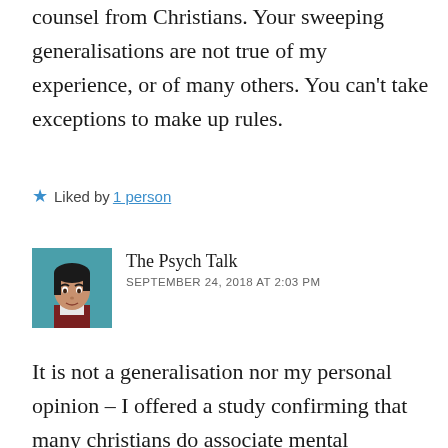counsel from Christians. Your sweeping generalisations are not true of my experience, or of many others. You can’t take exceptions to make up rules.
★ Liked by 1 person
The Psych Talk
SEPTEMBER 24, 2018 AT 2:03 PM
[Figure (illustration): Avatar illustration of a woman with dark hair wearing a red outfit, on a teal/blue background]
It is not a generalisation nor my personal opinion – I offered a study confirming that many christians do associate mental